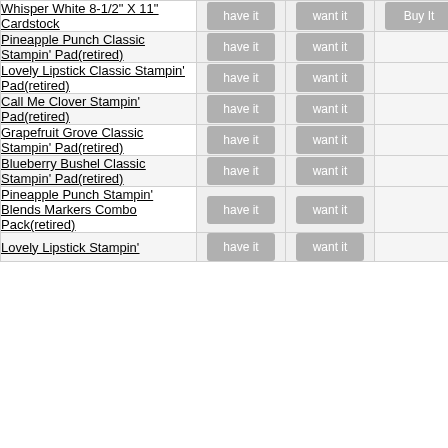| Product | have it | want it | Buy It |
| --- | --- | --- | --- |
| Whisper White 8-1/2" X 11" Cardstock | have it | want it | Buy It |
| Pineapple Punch Classic Stampin' Pad(retired) | have it | want it |  |
| Lovely Lipstick Classic Stampin' Pad(retired) | have it | want it |  |
| Call Me Clover Stampin' Pad(retired) | have it | want it |  |
| Grapefruit Grove Classic Stampin' Pad(retired) | have it | want it |  |
| Blueberry Bushel Classic Stampin' Pad(retired) | have it | want it |  |
| Pineapple Punch Stampin' Blends Markers Combo Pack(retired) | have it | want it |  |
| Lovely Lipstick Stampin' | have it | want it |  |